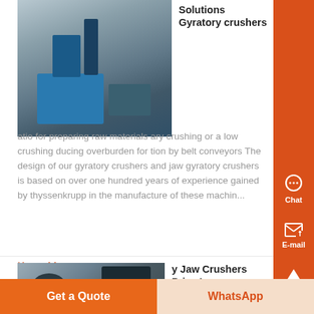Solutions Gyratory crushers
[Figure (photo): Industrial gyratory crusher machine in a factory setting with blue machinery visible]
atio for preparing raw materials ary crushing or a low crushing ducing overburden for tion by belt conveyors The design of our gyratory crushers and jaw gyratory crushers is based on over one hundred years of experience gained by thyssenkrupp in the manufacture of these machin...
Know More
y Jaw Crushers Price In
[Figure (photo): Industrial jaw crusher machinery close-up photograph]
w Crusher Europe European type
Get a Quote
WhatsApp